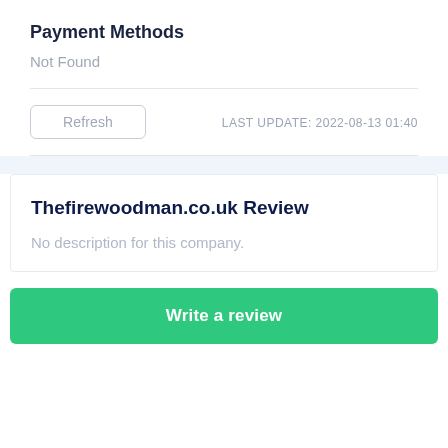Payment Methods
Not Found
Refresh
LAST UPDATE: 2022-08-13 01:40
Thefirewoodman.co.uk Review
No description for this company.
Write a review